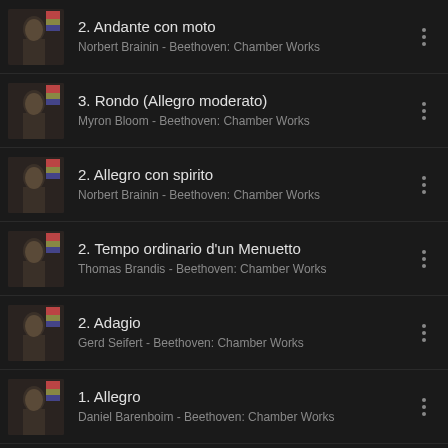2. Andante con moto
Norbert Brainin - Beethoven: Chamber Works
3. Rondo (Allegro moderato)
Myron Bloom - Beethoven: Chamber Works
2. Allegro con spirito
Norbert Brainin - Beethoven: Chamber Works
2. Tempo ordinario d'un Menuetto
Thomas Brandis - Beethoven: Chamber Works
2. Adagio
Gerd Seifert - Beethoven: Chamber Works
1. Allegro
Daniel Barenboim - Beethoven: Chamber Works